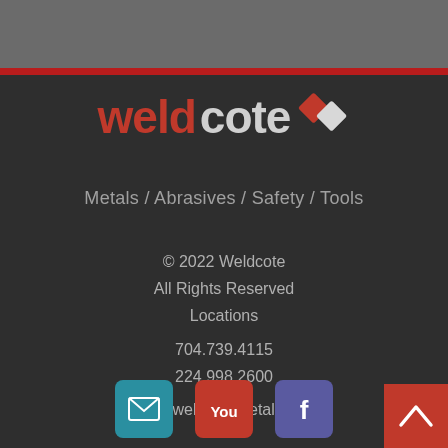[Figure (logo): Weldcote logo with red 'weld' text, gray 'cote' text, and a diamond/chevron icon]
Metals / Abrasives / Safety / Tools
© 2022 Weldcote
All Rights Reserved
Locations
704.739.4115
224.998.2600
info@weldcotemetals.com
[Figure (infographic): Social media icons: email (teal), YouTube (red), Facebook (blue-gray)]